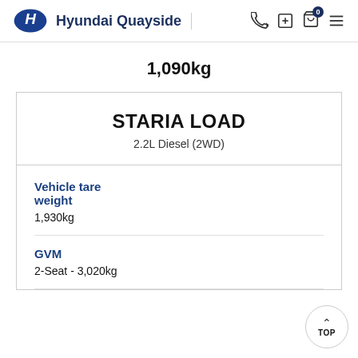Hyundai Quayside
1,090kg
STARIA LOAD
2.2L Diesel (2WD)
Vehicle tare weight
1,930kg
GVM
2-Seat - 3,020kg